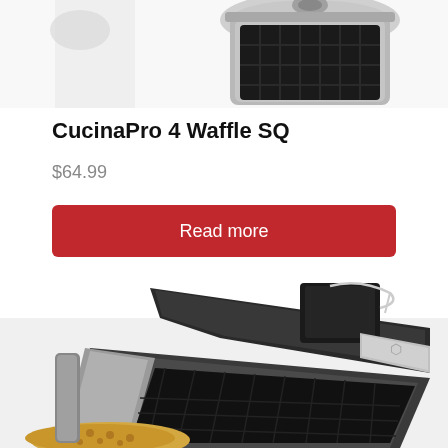[Figure (photo): Partial top view of a CucinaPro 4 waffle maker, showing the hinge/latch mechanism at the top of the product image (cropped).]
CucinaPro 4 Waffle SQ
$64.99
Read more
[Figure (photo): Close-up photo of the CucinaPro 4 Waffle SQ waffle maker showing the black and silver square waffle iron plates with a latch mechanism and a golden-colored waffle partially visible at the bottom.]